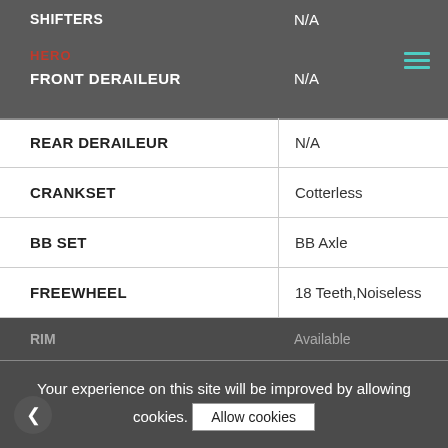| Component | Value |
| --- | --- |
| SHIFTERS | N/A |
| FRONT DERAILEUR | N/A |
| REAR DERAILEUR | N/A |
| CRANKSET | Cotterless |
| BB SET | BB Axle |
| FREEWHEEL | 18 Teeth,Noiseless |
| PEDALS | Available |
| TUBE | Available |
| RIM | Available |
Your experience on this site will be improved by allowing cookies. Allow cookies